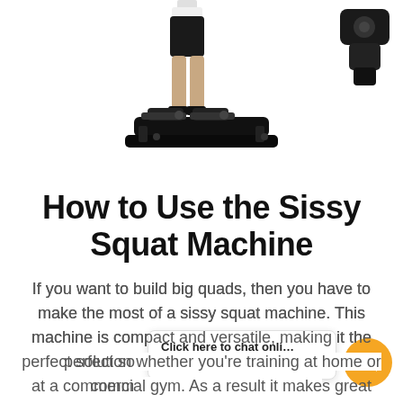[Figure (photo): Person standing on a black sissy squat machine/stepper exercise equipment, wearing black shorts and white top, photographed from the lower body down. A second piece of black gym equipment is partially visible in the upper right corner.]
How to Use the Sissy Squat Machine
If you want to build big quads, then you have to make the most of a sissy squat machine. This machine is compact and versatile, making it the perfect solution whether you're training at home or at a commercial gym. As a result, it makes for a great daily exercise that's going to target larg...